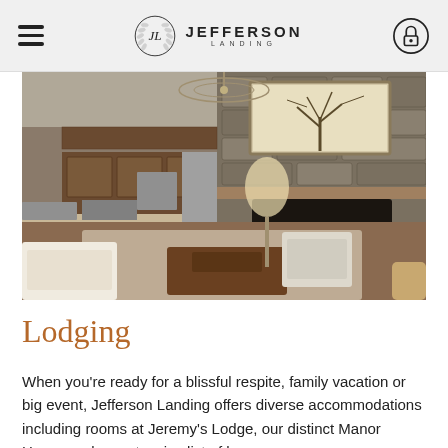JEFFERSON LANDING
[Figure (photo): Interior living room with stone fireplace, kitchen area with wood cabinets, white sofa and armchair, chandelier lighting, and warm lighting from a floor lamp.]
Lodging
When you're ready for a blissful respite, family vacation or big event, Jefferson Landing offers diverse accommodations including rooms at Jeremy's Lodge, our distinct Manor House and an extensive list of h...